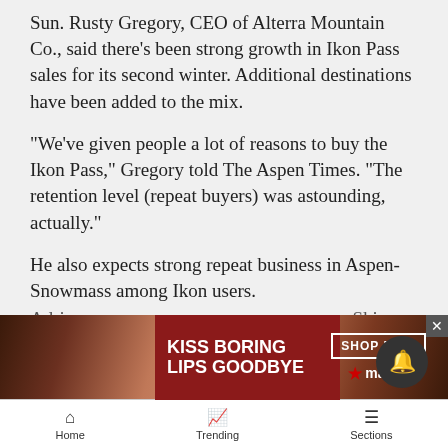Sun. Rusty Gregory, CEO of Alterra Mountain Co., said there’s been strong growth in Ikon Pass sales for its second winter. Additional destinations have been added to the mix.
“We’ve given people a lot of reasons to buy the Ikon Pass,” Gregory told The Aspen Times. “The retention level (repeat buyers) was astounding, actually.”
He also expects strong repeat business in Aspen-Snowmass among Ikon users.
“I think people will be back because Aspen’s a great place,” Gregory said. “Year to year, it will have a lot to do with the conditions and the economy.”
[Figure (photo): Macy's lipstick advertisement banner: 'KISS BORING LIPS GOODBYE' with SHOP NOW button and Macy's star logo over a photo of a woman with red lips]
Home   Trending   Sections